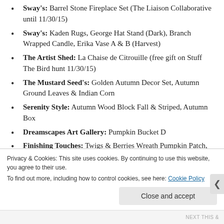Sway's: Barrel Stone Fireplace Set (The Liaison Collaborative until 11/30/15)
Sway's: Kaden Rugs, George Hat Stand (Dark), Branch Wrapped Candle, Erika Vase A & B (Harvest)
The Artist Shed: La Chaise de Citrouille (free gift on Stuff The Bird hunt 11/30/15)
The Mustard Seed's: Golden Autumn Decor Set, Autumn Ground Leaves & Indian Corn
Serenity Style: Autumn Wood Block Fall & Striped, Autumn Box
Dreamscapes Art Gallery: Pumpkin Bucket D
Finishing Touches: Twigs & Berries Wreath Pumpkin Patch, Pumpkin Candle Holder (Worn)
What Next: Cream Leaves Pumpkin, Autumn Leaves
Privacy & Cookies: This site uses cookies. By continuing to use this website, you agree to their use. To find out more, including how to control cookies, see here: Cookie Policy
Close and accept